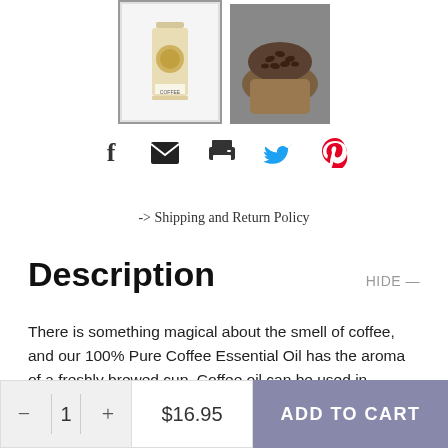[Figure (photo): Two product thumbnail images: left shows a bottle of coffee essential oil with a label, right shows hands holding coffee beans. Left image has a selected border.]
[Figure (infographic): Row of social sharing icons: Facebook (f), Email (envelope), Print (printer), Twitter (bird), Pinterest (P)]
-> Shipping and Return Policy
Description
HIDE —
There is something magical about the smell of coffee, and our 100% Pure Coffee Essential Oil has the aroma of a freshly brewed cup. Coffee oil can be used in aromatherapy for its beneficial effects on the mind and body, or on the skin to support its health. Coffee